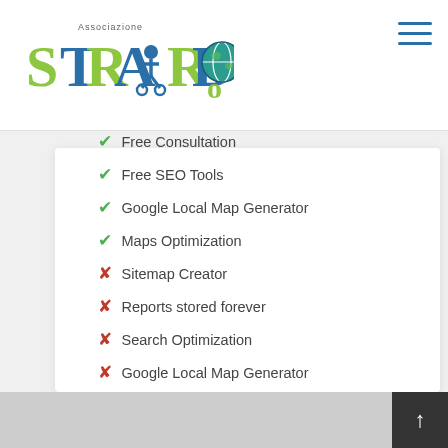[Figure (logo): Strabardo association logo with colorful text and globe icon]
✔ Free Consultation
✔ Free SEO Tools
✔ Google Local Map Generator
✔ Maps Optimization
✘ Sitemap Creator
✘ Reports stored forever
✘ Search Optimization
✘ Google Local Map Generator
✘ Maps Optimization